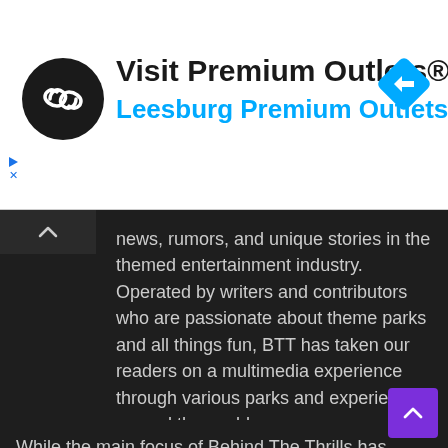[Figure (logo): Visit Premium Outlets® advertisement banner with circular black logo featuring infinity-like symbol, blue navigation diamond icon, and text 'Leesburg Premium Outlets' in blue]
news, rumors, and unique stories in the themed entertainment industry. Operated by writers and contributors who are passionate about theme parks and all things fun, BTT has taken our readers on a multimedia experience through various parks and experiences around the world.
While the main focus of Behind The Thrills has always been theme parks, we have grown to cover a wide variety of subjects including: movies, video games, conventions, zoological facilities and so much more.
Our goal at Behind The Thrills is take you on an adventure filled journey where the destination is